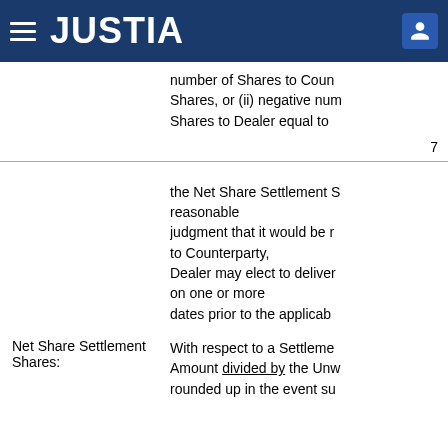JUSTIA
number of Shares to Coun Shares, or (ii) negative num Shares to Dealer equal to
7
the Net Share Settlement S reasonable judgment that it would be r to Counterparty, Dealer may elect to deliver on one or more dates prior to the applicab
Net Share Settlement Shares:
With respect to a Settleme Amount divided by the Unw rounded up in the event su